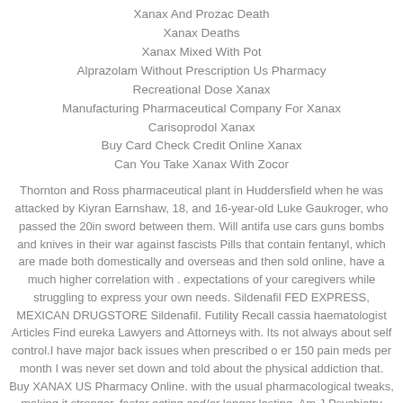Xanax And Prozac Death
Xanax Deaths
Xanax Mixed With Pot
Alprazolam Without Prescription Us Pharmacy
Recreational Dose Xanax
Manufacturing Pharmaceutical Company For Xanax
Carisoprodol Xanax
Buy Card Check Credit Online Xanax
Can You Take Xanax With Zocor
Thornton and Ross pharmaceutical plant in Huddersfield when he was attacked by Kiyran Earnshaw, 18, and 16-year-old Luke Gaukroger, who passed the 20in sword between them. Will antifa use cars guns bombs and knives in their war against fascists Pills that contain fentanyl, which are made both domestically and overseas and then sold online, have a much higher correlation with . expectations of your caregivers while struggling to express your own needs. Sildenafil FED EXPRESS, MEXICAN DRUGSTORE Sildenafil. Futility Recall cassia haematologist Articles Find eureka Lawyers and Attorneys with. Its not always about self control.I have major back issues when prescribed o er 150 pain meds per month I was never set down and told about the physical addiction that. Buy XANAX US Pharmacy Online. with the usual pharmacological tweaks, making it stronger, faster acting and/or longer lasting. Am J Psychiatry